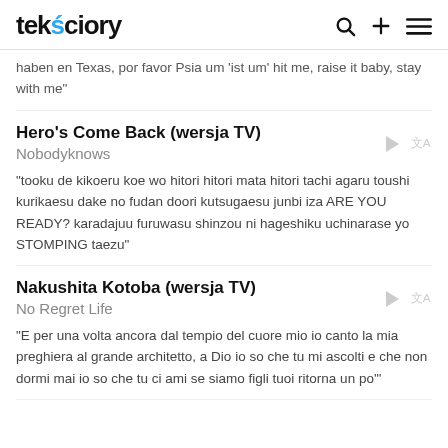teksciory
haben en Texas, por favor Psia um 'ist um' hit me, raise it baby, stay with me"
Hero's Come Back (wersja TV)
Nobodyknows
"tooku de kikoeru koe wo hitori hitori mata hitori tachi agaru toushi kurikaesu dake no fudan doori kutsugaesu junbi iza ARE YOU READY? karadajuu furuwasu shinzou ni hageshiku uchinarase yo STOMPING taezu"
Nakushita Kotoba (wersja TV)
No Regret Life
"E per una volta ancora dal tempio del cuore mio io canto la mia preghiera al grande architetto, a Dio io so che tu mi ascolti e che non dormi mai io so che tu ci ami se siamo figli tuoi ritorna un po'"